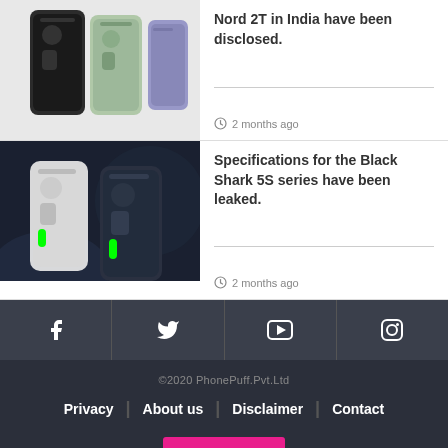[Figure (photo): OnePlus Nord 2T smartphones shown from back, multiple color variants on light gray background]
Nord 2T in India have been disclosed.
2 months ago
[Figure (photo): Black Shark 5S series smartphones shown from back on dark dramatic background]
Specifications for the Black Shark 5S series have been leaked.
2 months ago
[Figure (infographic): Social media icons row: Facebook, Twitter, YouTube, Instagram on dark gray background]
©2020 PhonePuff.Pvt.Ltd
Privacy | About us | Disclaimer | Contact
Home